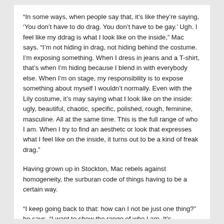“In some ways, when people say that, it’s like they’re saying, ‘You don’t have to do drag. You don’t have to be gay.’ Ugh. I feel like my ddrag is what I look like on the inside,” Mac says. “I’m not hiding in drag, not hiding behind the costume. I’m exposing something. When I dress in jeans and a T-shirt, that’s when I’m hiding because I blend in with everybody else. When I’m on stage, my responsibility is to expose something about myself I wouldn’t normally. Even with the Lily costume, it’s may saying what I look like on the inside: ugly, beautiful, chaotic, specific, polished, rough, feminine, masculine. All at the same time. This is the full range of who I am. When I try to find an aesthetc or look that expresses what I feel like on the inside, it turns out to be a kind of freak drag.”
Having grown up in Stockton, Mac rebels against homogeneity, the surburan code of things having to be a certain way.
“I keep going back to that: how can I not be just one thing?” he says. “I want to show the range of who I am. It’s